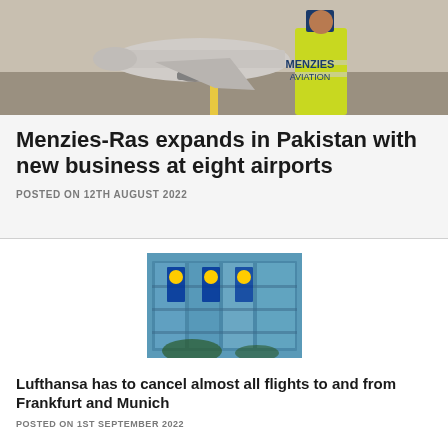[Figure (photo): Airport tarmac scene with a person in a yellow high-visibility jacket with an 'M' logo (Menzies Aviation) standing in front of an aircraft on the runway.]
Menzies-Ras expands in Pakistan with new business at eight airports
POSTED ON 12TH AUGUST 2022
[Figure (photo): Building exterior with large glass windows reflecting blue sky and clouds, with Lufthansa logos/banners visible.]
Lufthansa has to cancel almost all flights to and from Frankfurt and Munich
POSTED ON 1ST SEPTEMBER 2022